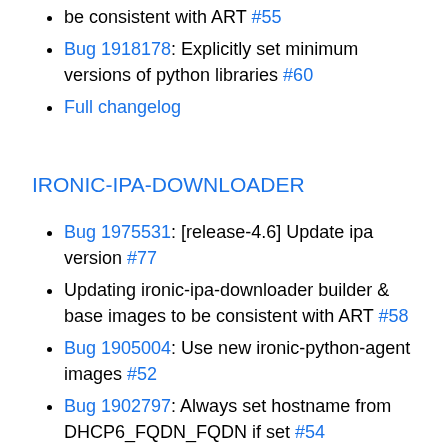be consistent with ART #55
Bug 1918178: Explicitly set minimum versions of python libraries #60
Full changelog
IRONIC-IPA-DOWNLOADER
Bug 1975531: [release-4.6] Update ipa version #77
Updating ironic-ipa-downloader builder & base images to be consistent with ART #58
Bug 1905004: Use new ironic-python-agent images #52
Bug 1902797: Always set hostname from DHCP6_FQDN_FQDN if set #54
Bug 1899190: Apply hack to eventlet #53
Full changelog
IRONIC-MACHINE-OS-DOWNLOADER